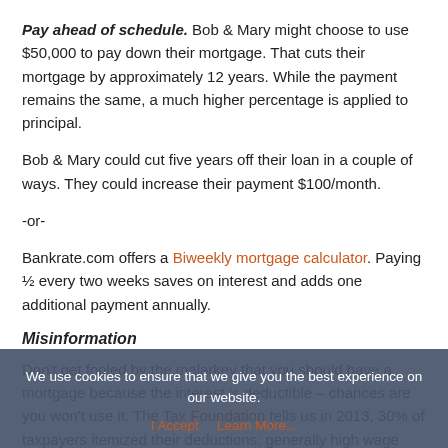Pay ahead of schedule. Bob & Mary might choose to use $50,000 to pay down their mortgage. That cuts their mortgage by approximately 12 years. While the payment remains the same, a much higher percentage is applied to principal.
Bob & Mary could cut five years off their loan in a couple of ways. They could increase their payment $100/month.
-or-
Bankrate.com offers a Biweekly mortgage calculator. Paying ½ every two weeks saves on interest and adds one additional payment annually.
Misinformation
Don't get fooled by the malarkey that you should have a mortgage because the interest is deductible – chances are you won't use it. The Tax Foundation tells us in 2013, 30% of taxpayers itemized their deductions; generally high wage earners.